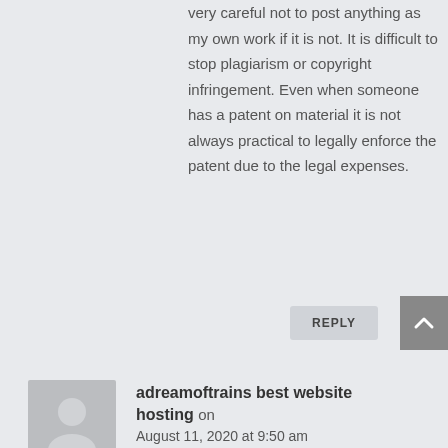very careful not to post anything as my own work if it is not. It is difficult to stop plagiarism or copyright infringement. Even when someone has a patent on material it is not always practical to legally enforce the patent due to the legal expenses.
REPLY
[Figure (illustration): Gray scroll-to-top button with upward chevron arrow]
[Figure (illustration): Generic user avatar placeholder image (gray silhouette on gray background)]
adreamoftrains best website hosting on
August 11, 2020 at 9:50 am